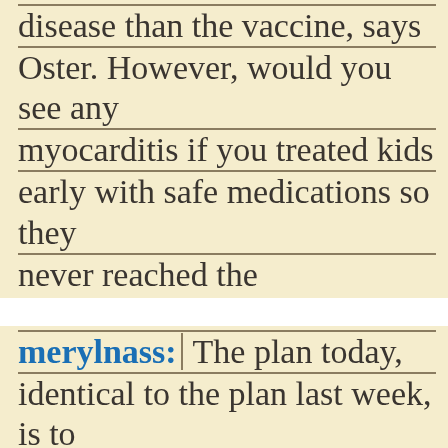disease than the vaccine, says Oster. However, would you see any myocarditis if you treated kids early with safe medications so they never reached the inflammatory phase, which usually ooccurs following 7 days of illness.
merylnass: The plan today, identical to the plan last week, is to pretend that the only possible risk from the vaccine is myocarditis.